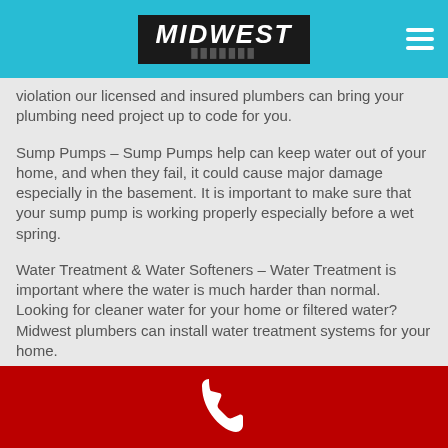MIDWEST
violation our licensed and insured plumbers can bring your plumbing need project up to code for you.
Sump Pumps – Sump Pumps help can keep water out of your home, and when they fail, it could cause major damage especially in the basement. It is important to make sure that your sump pump is working properly especially before a wet spring.
Water Treatment & Water Softeners – Water Treatment is important where the water is much harder than normal. Looking for cleaner water for your home or filtered water? Midwest plumbers can install water treatment systems for your home.
Phone contact footer